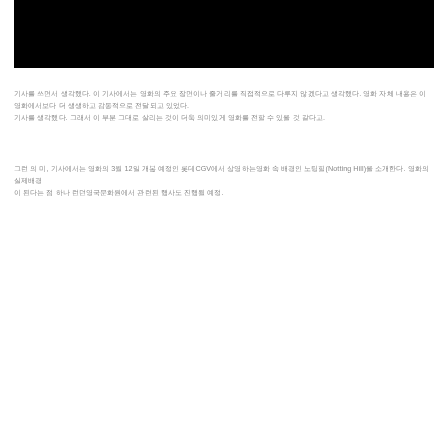[Figure (photo): Black rectangular image/banner at the top of the page]
기사를 쓰면서 생각했다. 이 기사에서는 영화의 주요 장면이나 줄거리를 직접적으로 다루지 않겠다고 생각했다. 영화 자체 내용은 이 영화에서보다 더 생생하고 감동적으로 전달되고 있었다. 그래서 이 부분 그대로 살리는 것이 더욱 의미있게 영화를 전할 수 있을 것 같다고.
그런 의 미, 기사에서는 영화의 3월 12일 개봉 예정인 롯데CGV에서 상영하는영화 속 배경인 노팅힐(Notting Hill)을 소개한다. 영화의 실제배경 이 된다는 점 하나 런던영국문화원에서 관련된 행사도 진행될 예정.